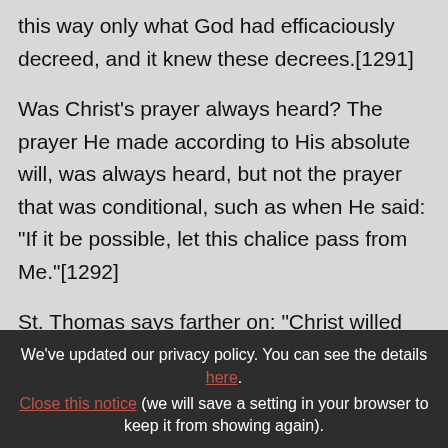this way only what God had efficaciously decreed, and it knew these decrees.[1291]
Was Christ's prayer always heard? The prayer He made according to His absolute will, was always heard, but not the prayer that was conditional, such as when He said: "If it be possible, let this chalice pass from Me."[1292]
St. Thomas says farther on: "Christ willed nothing but what He knew God to will.
We've updated our privacy policy. You can see the details here. Close this notice (we will save a setting in your browser to keep it from showing again).